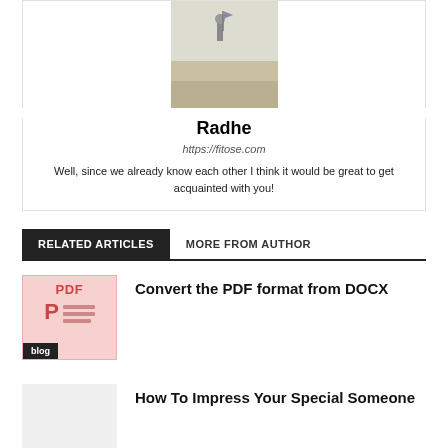[Figure (photo): Author profile photo showing a person with a flag in an outdoor sandy setting]
Radhe
https://fitose.com
Well, since we already know each other I think it would be great to get acquainted with you!
RELATED ARTICLES    MORE FROM AUTHOR
[Figure (illustration): PDF document thumbnail icon with pink/red background showing 'PDF' text and 'P' letter with lines]
blog
Convert the PDF format from DOCX
How To Impress Your Special Someone